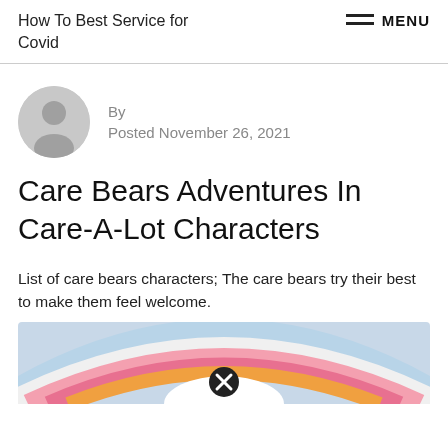How To Best Service for Covid
By
Posted November 26, 2021
Care Bears Adventures In Care-A-Lot Characters
List of care bears characters; The care bears try their best to make them feel welcome.
[Figure (illustration): Colorful rainbow illustration with pink, orange and white arcs on a light blue background, partially cropped at bottom with a close/X button overlay]